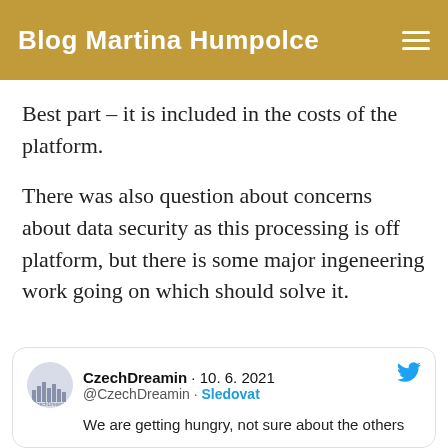Blog Martina Humpolce
Best part – it is included in the costs of the platform.
There was also question about concerns about data security as this processing is off platform, but there is some major ingeneering work going on which should solve it.
[Figure (screenshot): Embedded tweet from @CzechDreamin dated 10. 6. 2021 with text: 'We are getting hungry, not sure about the others']